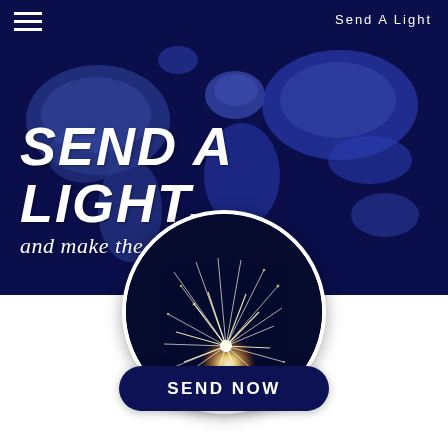Send A Light
[Figure (illustration): Dark navy background with a stylized world map in blue/purple tones, overlaid with large bold italic white text reading SEND A LIGHT... and italic subtitle and make the world brighter. A hamburger menu icon is in the top-left. Below center, a circular image shows a sparkler on a dark background. A dark navy rounded button reads SEND NOW.]